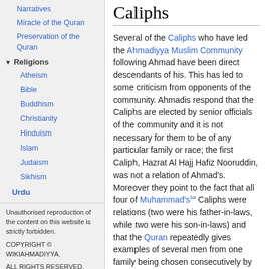Narratives
Miracle of the Quran
Preservation of the Quran
Religions
Atheism
Bible
Buddhism
Christianity
Hinduism
Islam
Judaism
Sikhism
Urdu
Unauthorised reproduction of the content on this website is strictly forbidden.

COPYRIGHT © WIKIAHMADIYYA.

ALL RIGHTS RESERVED.
Caliphs
Several of the Caliphs who have led the Ahmadiyya Muslim Community following Ahmad have been direct descendants of his. This has led to some criticism from opponents of the community. Ahmadis respond that the Caliphs are elected by senior officials of the community and it is not necessary for them to be of any particular family or race; the first Caliph, Hazrat Al Hajj Hafiz Nooruddin, was not a relation of Ahmad's. Moreover they point to the fact that all four of Muhammad'ssa Caliphs were relations (two were his father-in-laws, while two were his son-in-laws) and that the Quran repeatedly gives examples of several men from one family being chosen consecutively by God as religious leaders: for example